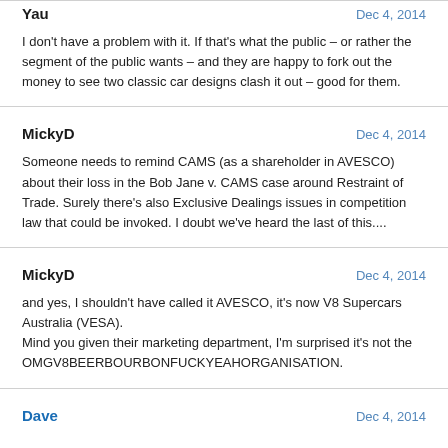Yau
Dec 4, 2014
I don't have a problem with it. If that's what the public – or rather the segment of the public wants – and they are happy to fork out the money to see two classic car designs clash it out – good for them.
MickyD
Dec 4, 2014
Someone needs to remind CAMS (as a shareholder in AVESCO) about their loss in the Bob Jane v. CAMS case around Restraint of Trade. Surely there's also Exclusive Dealings issues in competition law that could be invoked. I doubt we've heard the last of this....
MickyD
Dec 4, 2014
and yes, I shouldn't have called it AVESCO, it's now V8 Supercars Australia (VESA).
Mind you given their marketing department, I'm surprised it's not the OMGV8BEERBOURBONFUCKYEAHORGANISATION.
Dave
Dec 4, 2014